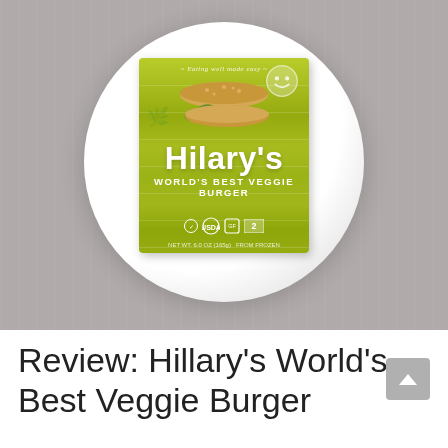[Figure (photo): Overhead photo of a Hilary's World's Best Veggie Burger green package box placed on a white round plate, set on a grey linen textured surface/placemat.]
Review: Hillary's World's Best Veggie Burger